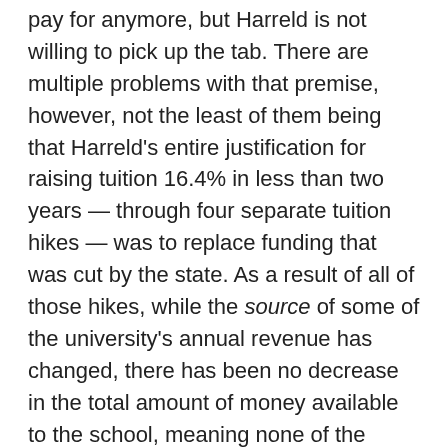pay for anymore, but Harreld is not willing to pick up the tab. There are multiple problems with that premise, however, not the least of them being that Harreld's entire justification for raising tuition 16.4% in less than two years — through four separate tuition hikes — was to replace funding that was cut by the state. As a result of all of those hikes, while the source of some of the university's annual revenue has changed, there has been no decrease in the total amount of money available to the school, meaning none of the closings and cuts that would follow were necessary to balance the books.
In fact — and as noted endlessly in these virtual pages — Harreld has relentlessly exploited UI students by aggressively increasing tuition a minimum of $2.5 for every $1 in cuts since his hire,